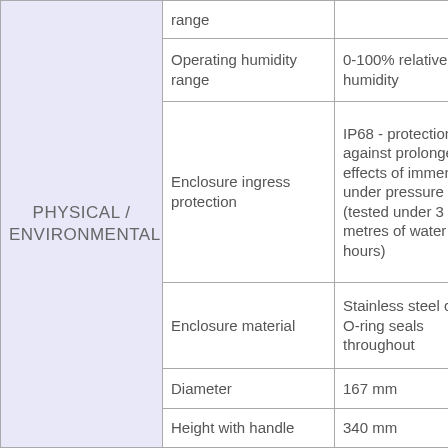| Category | Specification | Value |
| --- | --- | --- |
| PHYSICAL / ENVIRONMENTAL | range |  |
| PHYSICAL / ENVIRONMENTAL | Operating humidity range | 0-100% relative humidity |
| PHYSICAL / ENVIRONMENTAL | Enclosure ingress protection | IP68 - protection against prolonged effects of immersion under pressure (tested under 3 metres of water for 72 hours) |
| PHYSICAL / ENVIRONMENTAL | Enclosure material | Stainless steel case O-ring seals throughout |
| PHYSICAL / ENVIRONMENTAL | Diameter | 167 mm |
| PHYSICAL / ENVIRONMENTAL | Height with handle | 340 mm |